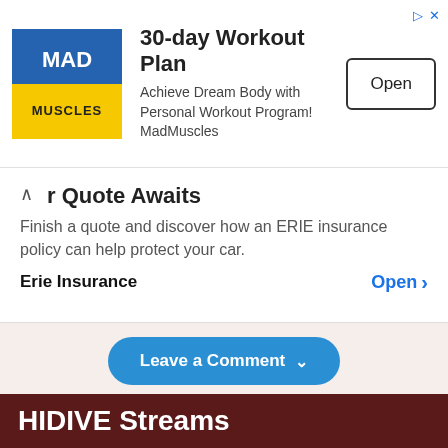[Figure (logo): Mad Muscles logo — blue and yellow square with 'MAD MUSCLES' text]
30-day Workout Plan
Achieve Dream Body with Personal Workout Program! MadMuscles
Open
r Quote Awaits
Finish a quote and discover how an ERIE insurance policy can help protect your car.
Erie Insurance
Open >
Leave a Comment
Read Another
Anime
HIDIVE Streams